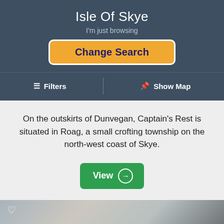Isle Of Skye
I'm just browsing
Change Search
≡ Filters | Show Map
On the outskirts of Dunvegan, Captain's Rest is situated in Roag, a small crofting township on the north-west coast of Skye.
View →
[Figure (photo): Partial photo strip of a landscape scene, partially visible at the bottom of the page. A heart/favorite icon is visible in the top-left corner.]
This website uses cookies. Click here to read our Privacy Policy. If that's okay with you, just keep browsing. CLOSE